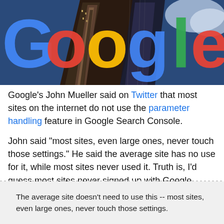[Figure (photo): Google logo overlaid on a photograph of skyscrapers shot from below against a blue sky]
Google's John Mueller said on Twitter that most sites on the internet do not use the parameter handling feature in Google Search Console.
John said "most sites, even large ones, never touch those settings." He said the average site has no use for it, while most sites never used it. Truth is, I'd guess most sites never signed up with Google Search Console - so that is not a stretch of a statement.
The average site doesn't need to use this -- most sites, even large ones, never touch those settings.